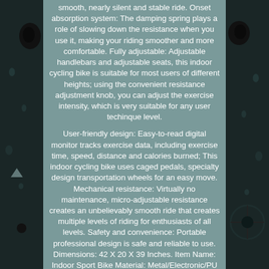smooth, nearly silent and stable ride. Onset absorption system: The damping spring plays a role of slowing down the resistance when you use it, making your riding smoother and more comfortable. Fully adjustable: Adjustable handlebars and adjustable seats, this indoor cycling bike is suitable for most users of different heights; using the convenient resistance adjustment knob, you can adjust the exercise intensity, which is very suitable for any user techinque level.

User-friendly design: Easy-to-read digital monitor tracks exercise data, including exercise time, speed, distance and calories burned; This indoor cycling bike uses caged pedals, specialty design transportation wheels for an easy move. Mechanical resistance: Virtually no maintenance, micro-adjustable resistance creates an unbelievably smooth ride that creates multiple levels of riding for enthusiasts of all levels. Safety and convenience: Portable professional design is safe and reliable to use. Dimensions: 42 X 20 X 39 Inches. Item Name: Indoor Sport Bike Material: Metal/Electronic/PU Product Size: 42 X 20 X 39 Inches Product Weight: 57.2lb Drive System: Belt Drive Seat Adjustment: Up / Down & Forward / Back Max Weight Capacity: 270lb Package Size: 40.4 x 33.6 x 10 Inches Package Weight: 60lb. 1 x Indoor Sport